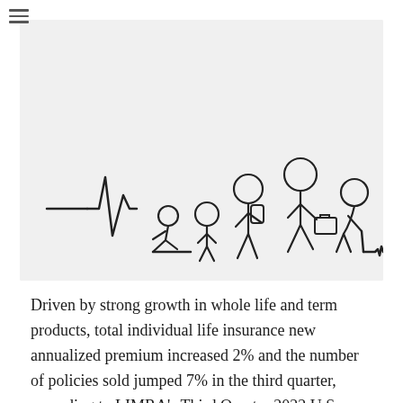[Figure (illustration): A heartbeat/EKG line illustration combined with stick figures representing the stages of human life: infant crawling, child, young adult with backpack, adult with briefcase, elderly person with cane. The figures are drawn in a simple black outline style on a light gray background.]
Driven by strong growth in whole life and term products, total individual life insurance new annualized premium increased 2% and the number of policies sold jumped 7% in the third quarter, according to LIMRA's Third Quarter 2022 U.S. Individual Life...